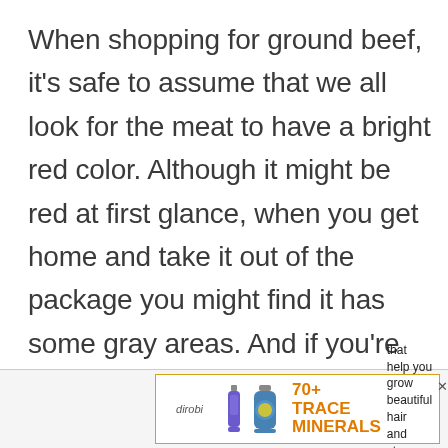When shopping for ground beef, it's safe to assume that we all look for the meat to have a bright red color. Although it might be red at first glance, when you get home and take it out of the package you might find it has some gray areas. And if you're like me, you automatically take it as a sign that the meat is bad.
[Figure (other): Advertisement banner for dirobi 70+ TRACE MINERALS supplement with product bottles and tagline 'that help you grow beautiful hair and strong nails']